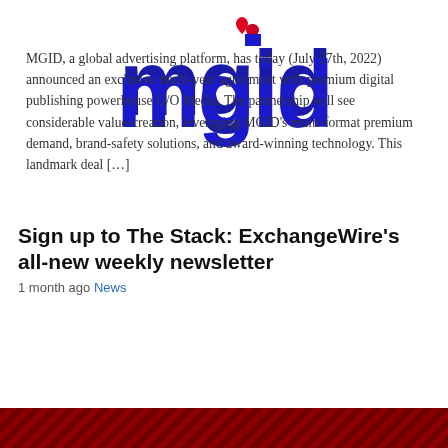[Figure (logo): MGID logo — bold blue letters 'mgid' with a red heart-shaped dot above the 'i']
MGID, a global advertising platform, has today (July 27th, 2022) announced an exclusive multi-year agreement with premium digital publishing powerhouse G/O Media. The partnership will see considerable value-creation, leveraging MGID's multi-format premium demand, brand-safety solutions, and award-winning technology. This landmark deal […]
Sign up to The Stack: ExchangeWire's all-new weekly newsletter
1 month ago News
[Figure (photo): Dark red banner with diagonal stripe texture pattern]